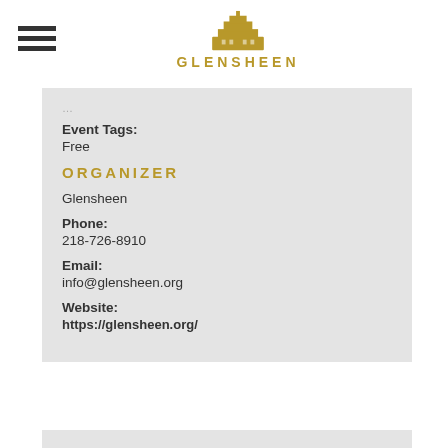GLENSHEEN
Event Tags:
Free
ORGANIZER
Glensheen
Phone:
218-726-8910
Email:
info@glensheen.org
Website:
https://glensheen.org/